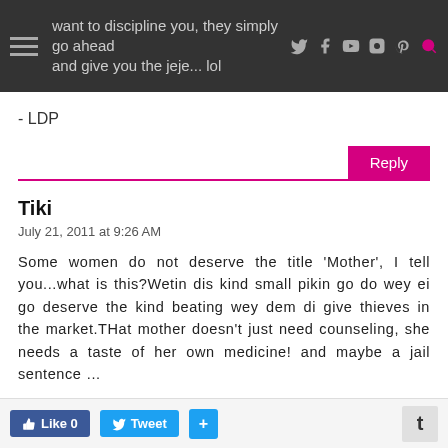want to discipline you, they simply go ahead and give you the jeje... lol
- LDP
Reply
Tiki
July 21, 2011 at 9:26 AM
Some women do not deserve the title 'Mother', I tell you...what is this?Wetin dis kind small pikin go do wey ei go deserve the kind beating wey dem di give thieves in the market.THat mother doesn't just need counseling, she needs a taste of her own medicine! and maybe a jail sentence ...
Like 0  Tweet  +  t